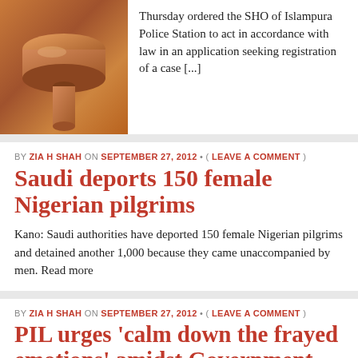[Figure (photo): Wooden gavel/judge's hammer photograph, brown tones]
Thursday ordered the SHO of Islampura Police Station to act in accordance with law in an application seeking registration of a case [...]
BY ZIA H SHAH ON SEPTEMBER 27, 2012 • ( LEAVE A COMMENT )
Saudi deports 150 female Nigerian pilgrims
Kano: Saudi authorities have deported 150 female Nigerian pilgrims and detained another 1,000 because they came unaccompanied by men. Read more
BY ZIA H SHAH ON SEPTEMBER 27, 2012 • ( LEAVE A COMMENT )
PIL urges 'calm down the frayed emotions' amidst Government assurance to rebuilt Church in mardan